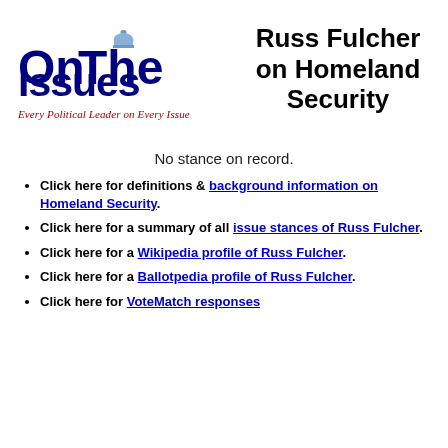[Figure (logo): OnTheIssues logo with capitol dome graphic and tagline 'Every Political Leader on Every Issue']
Russ Fulcher on Homeland Security
No stance on record.
Click here for definitions & background information on Homeland Security.
Click here for a summary of all issue stances of Russ Fulcher.
Click here for a Wikipedia profile of Russ Fulcher.
Click here for a Ballotpedia profile of Russ Fulcher.
Click here for VoteMatch responses